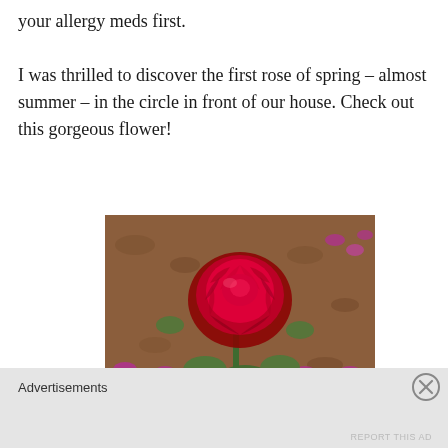your allergy meds first.
I was thrilled to discover the first rose of spring – almost summer – in the circle in front of our house. Check out this gorgeous flower!
[Figure (photo): A large red rose in full bloom in a garden bed with mulch, surrounded by small purple flowers and green foliage.]
Advertisements